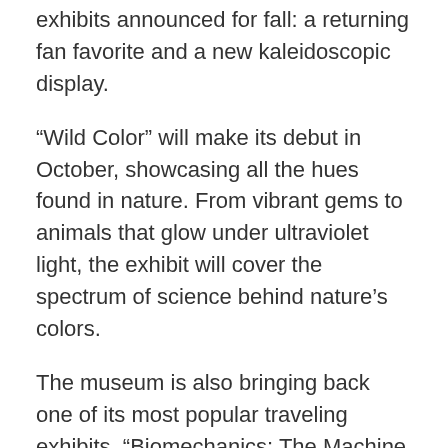exhibits announced for fall: a returning fan favorite and a new kaleidoscopic display.
“Wild Color” will make its debut in October, showcasing all the hues found in nature. From vibrant gems to animals that glow under ultraviolet light, the exhibit will cover the spectrum of science behind nature’s colors.
The museum is also bringing back one of its most popular traveling exhibits, “Biomechanics: The Machine Inside,” for an encore. The show, which has been on a national tour, is set to reopen in Chicago in September.
“Biomechanics” looks at the engineering behind the bodies of humans and animals — the “how” that allows creatures to jump, swim and fly — and also